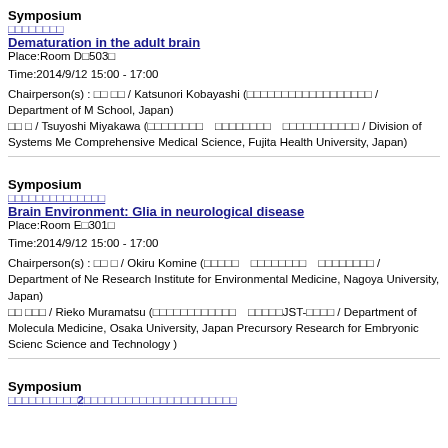Symposium
□□□□□□□□
Dematuration in the adult brain
Place:Room D□503□
Time:2014/9/12 15:00 - 17:00
Chairperson(s) : □□ □□ / Katsunori Kobayashi (□□□□□□□□□□□□□□□□□□ / Department of M School, Japan)
□□ □ / Tsuyoshi Miyakawa (□□□□□□□□　□□□□□□□□　□□□□□□□□□□□ / Division of Systems Me Comprehensive Medical Science, Fujita Health University, Japan)
Symposium
□□□□□□□□□□□□□□
Brain Environment: Glia in neurological disease
Place:Room E□301□
Time:2014/9/12 15:00 - 17:00
Chairperson(s) : □□ □ / Okiru Komine (□□□□□　□□□□□□□□　□□□□□□□□ / Department of Ne Research Institute for Environmental Medicine, Nagoya University, Japan)
□□ □□□ / Rieko Muramatsu (□□□□□□□□□□□□　□□□□□JST-□□□□ / Department of Molecula Medicine, Osaka University, Japan Precursory Research for Embryonic Scienc Science and Technology )
Symposium
□□□□□□□□□□2□□□□□□□□□□□□□□□□□□□□□□